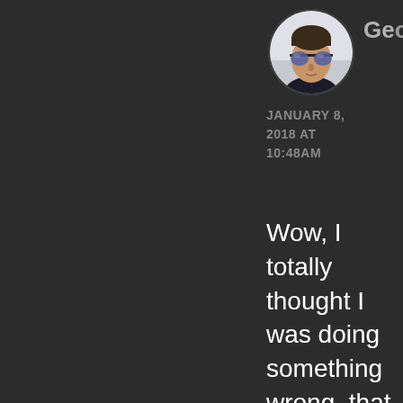[Figure (photo): Circular profile photo of a man wearing reflective aviator sunglasses]
Geo
JANUARY 8, 2018 AT 10:48AM
Wow, I totally thought I was doing something wrong, that kept giving me